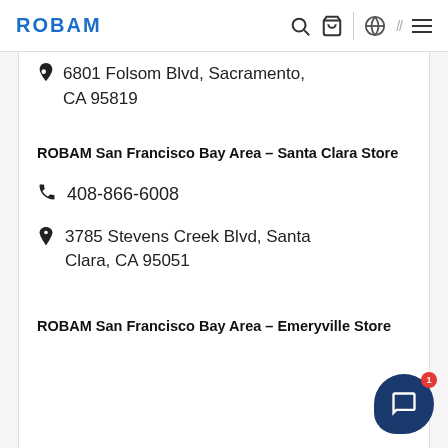ROBAM
6801 Folsom Blvd, Sacramento, CA 95819
ROBAM San Francisco Bay Area – Santa Clara Store
408-866-6008
3785 Stevens Creek Blvd, Santa Clara, CA 95051
ROBAM San Francisco Bay Area – Emeryville Store